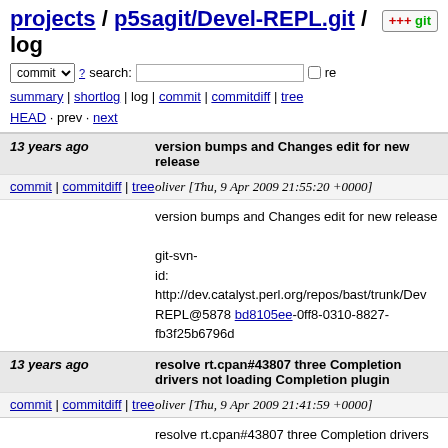projects / p5sagit/Devel-REPL.git / log
summary | shortlog | log | commit | commitdiff | tree
HEAD · prev · next
13 years ago  version bumps and Changes edit for new release
commit | commitdiff | tree   oliver [Thu, 9 Apr 2009 21:55:20 +0000]
version bumps and Changes edit for new release

git-svn-id: http://dev.catalyst.perl.org/repos/bast/trunk/Devel-REPL@5878 bd8105ee-0ff8-0310-8827-fb3f25b6796d
13 years ago  resolve rt.cpan#43807 three Completion drivers not loading Completion plugin
commit | commitdiff | tree   oliver [Thu, 9 Apr 2009 21:41:59 +0000]
resolve rt.cpan#43807 three Completion drivers not loading Completion plugin